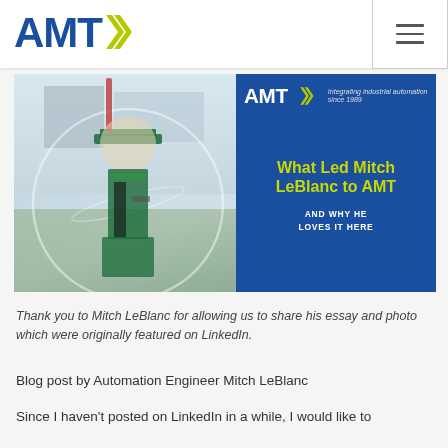AMT logo and navigation menu
[Figure (photo): Composite hero image: Left half shows a young man in green graduation cap and gown smiling outdoors on a campus. Right half is a dark blue panel with AMT logo at top and text 'What Led Mitch LeBlanc to AMT AND WHY HE LOVES IT HERE' in yellow and white.]
Thank you to Mitch LeBlanc for allowing us to share his essay and photo which were originally featured on LinkedIn.
Blog post by Automation Engineer Mitch LeBlanc
Since I haven't posted on LinkedIn in a while, I would like to